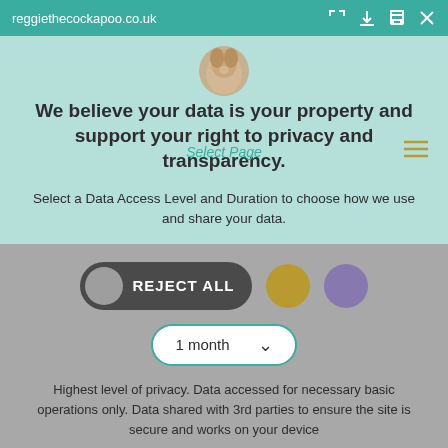reggiethecockapoo.co.uk
We believe your data is your property and support your right to privacy and transparency.
Select Page
Select a Data Access Level and Duration to choose how we use and share your data.
[Figure (screenshot): REJECT ALL pill button (dark grey with grey circle), gold circle button, purple circle button, and a '1 month' dropdown selector with teal border]
Highest level of privacy. Data accessed for necessary basic operations only. Data shared with 3rd parties to ensure the site is secure and works on your device
Save my preferences